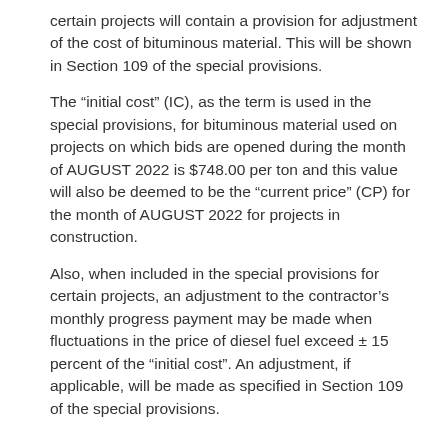certain projects will contain a provision for adjustment of the cost of bituminous material. This will be shown in Section 109 of the special provisions.
The “initial cost” (IC), as the term is used in the special provisions, for bituminous material used on projects on which bids are opened during the month of AUGUST 2022 is $748.00 per ton and this value will also be deemed to be the “current price” (CP) for the month of AUGUST 2022 for projects in construction.
Also, when included in the special provisions for certain projects, an adjustment to the contractor’s monthly progress payment may be made when fluctuations in the price of diesel fuel exceed ± 15 percent of the “initial cost”. An adjustment, if applicable, will be made as specified in Section 109 of the special provisions.